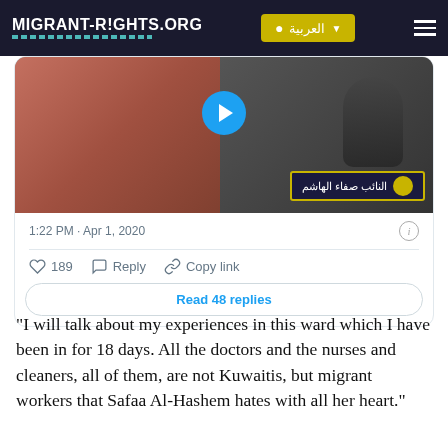MIGRANT-RIGHTS.ORG | العربية
[Figure (screenshot): Embedded tweet screenshot showing a video thumbnail with two people, a play button, and an Arabic TV caption bar reading 'النائب صفاء الهاشم'. Below: timestamp '1:22 PM · Apr 1, 2020', like count 189, Reply and Copy link actions, and a 'Read 48 replies' button.]
"I will talk about my experiences in this ward which I have been in for 18 days. All the doctors and the nurses and cleaners, all of them, are not Kuwaitis, but migrant workers that Safaa Al-Hashem hates with all her heart."